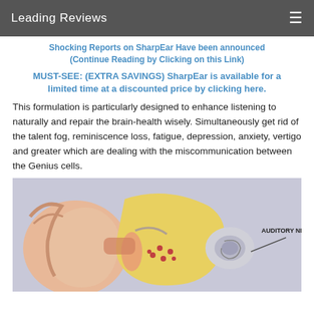Leading Reviews
Shocking Reports on SharpEar Have been announced (Continue Reading by Clicking on this Link)
MUST-SEE: (EXTRA SAVINGS) SharpEar is available for a limited time at a discounted price by clicking here.
This formulation is particularly designed to enhance listening to naturally and repair the brain-health wisely. Simultaneously get rid of the talent fog, reminiscence loss, fatigue, depression, anxiety, vertigo and greater which are dealing with the miscommunication between the Genius cells.
[Figure (illustration): Anatomical cross-section illustration of the human ear showing the ear canal, cochlea, and auditory nerve with label 'AUDITORY NERVE']